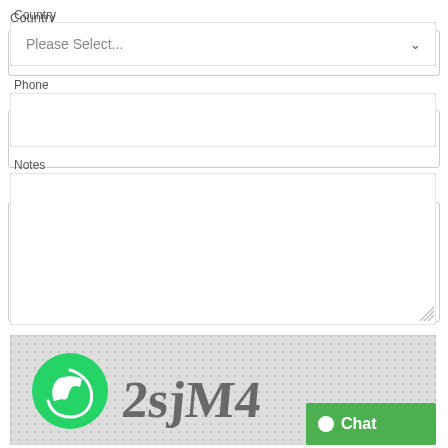Country
[Figure (screenshot): Dropdown select field with placeholder text 'Please Select...' and a chevron arrow]
Phone
[Figure (screenshot): Empty text input field for phone number]
Notes
[Figure (screenshot): Empty textarea input for notes with resize handle]
[Figure (screenshot): CAPTCHA image with WhatsApp icon circle on left, distorted text '2sjM4' in center, and green 'Chat' button on lower right]